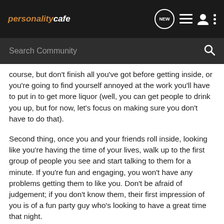personalitycafe — navigation header with NEW button, list icon, user icon, more icon
Search Community
course, but don't finish all you've got before getting inside, or you're going to find yourself annoyed at the work you'll have to put in to get more liquor (well, you can get people to drink you up, but for now, let's focus on making sure you don't have to do that).
Second thing, once you and your friends roll inside, looking like you're having the time of your lives, walk up to the first group of people you see and start talking to them for a minute. If you're fun and engaging, you won't have any problems getting them to like you. Don't be afraid of judgement; if you don't know them, their first impression of you is of a fun party guy who's looking to have a great time that night.
Do this for every group of people you see, and I guarantee your